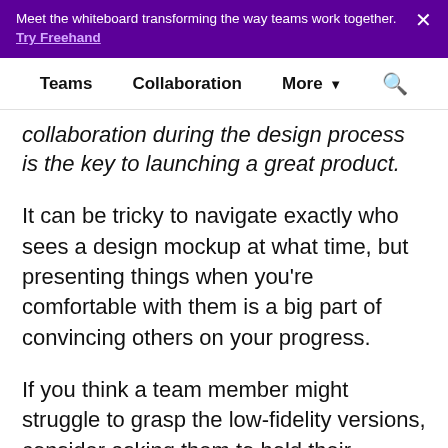Meet the whiteboard transforming the way teams work together. Try Freehand
Teams  Collaboration  More  🔍
collaboration during the design process is the key to launching a great product.
It can be tricky to navigate exactly who sees a design mockup at what time, but presenting things when you're comfortable with them is a big part of convincing others on your progress.
If you think a team member might struggle to grasp the low-fidelity versions, consider asking them to hold their feedback until you've reached a higher fidelity stage. Collecting opinions at various stages of the process is a lot simpler now because of modern tools like Slack, Trello, and of course